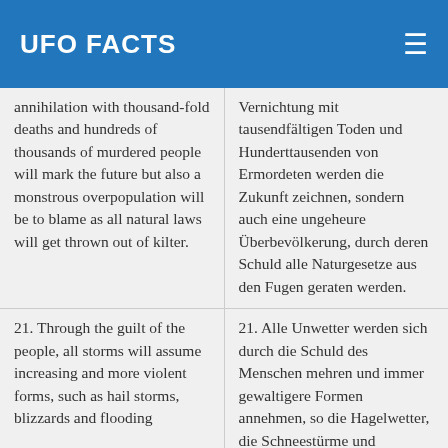UFO FACTS
annihilation with thousand-fold deaths and hundreds of thousands of murdered people will mark the future but also a monstrous overpopulation will be to blame as all natural laws will get thrown out of kilter.
Vernichtung mit tausendfältigen Toden und Hunderttausenden von Ermordeten werden die Zukunft zeichnen, sondern auch eine ungeheure Überbevölkerung, durch deren Schuld alle Naturgesetze aus den Fugen geraten werden.
21. Through the guilt of the people, all storms will assume increasing and more violent forms, such as hail storms, blizzards and flooding
21. Alle Unwetter werden sich durch die Schuld des Menschen mehren und immer gewaltigere Formen annehmen, so die Hagelwetter, die Schneestürme und